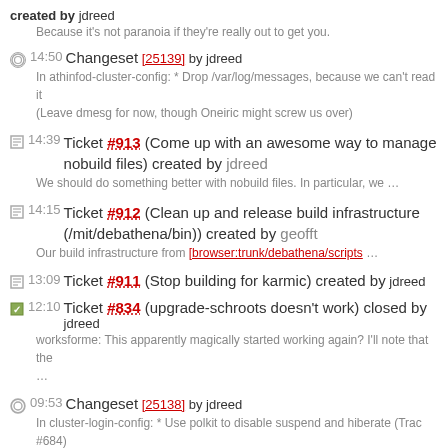created by jdreed
Because it's not paranoia if they're really out to get you.
14:50 Changeset [25139] by jdreed — In athinfod-cluster-config: * Drop /var/log/messages, because we can't read it (Leave dmesg for now, though Oneiric might screw us over)
14:39 Ticket #913 (Come up with an awesome way to manage nobuild files) created by jdreed — We should do something better with nobuild files. In particular, we ...
14:15 Ticket #912 (Clean up and release build infrastructure (/mit/debathena/bin)) created by geofft — Our build infrastructure from [browser:trunk/debathena/scripts ...
13:09 Ticket #911 (Stop building for karmic) created by jdreed
12:10 Ticket #834 (upgrade-schroots doesn't work) closed by jdreed — worksforme: This apparently magically started working again? I'll note that the ...
09:53 Changeset [25138] by jdreed — In cluster-login-config: * Use polkit to disable suspend and hiberate (Trac #684)
06/14/11:
16:33 Changeset [25137] by jdreed — In athinfod-cluster-config: * Read the correct files in update-schedule (Trac